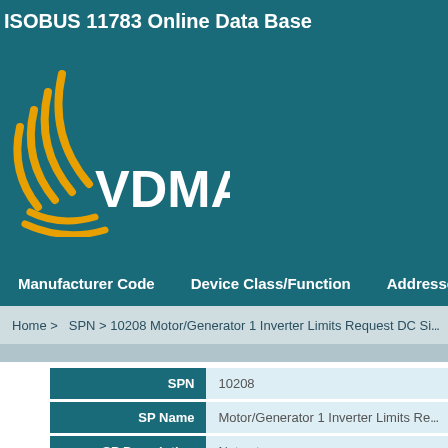ISOBUS 11783 Online Data Base
[Figure (logo): VDMA logo with radio wave icon and VDMA text in white on teal background]
Manufacturer Code   Device Class/Function   Addresses
Home > SPN > 10208 Motor/Generator 1 Inverter Limits Request DC Si...
| Field | Value |
| --- | --- |
| SPN | 10208 |
| SP Name | Motor/Generator 1 Inverter Limits Re... |
| SP Description | Not set |
| Sp Notes | Not set |
| Has Attachment | Not set |